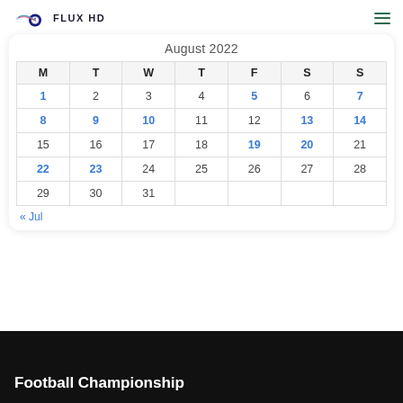[Figure (logo): Flux HD logo with football and comet icon and text FLUX HD]
August 2022
| M | T | W | T | F | S | S |
| --- | --- | --- | --- | --- | --- | --- |
| 1 | 2 | 3 | 4 | 5 | 6 | 7 |
| 8 | 9 | 10 | 11 | 12 | 13 | 14 |
| 15 | 16 | 17 | 18 | 19 | 20 | 21 |
| 22 | 23 | 24 | 25 | 26 | 27 | 28 |
| 29 | 30 | 31 |  |  |  |  |
« Jul
Football Championship